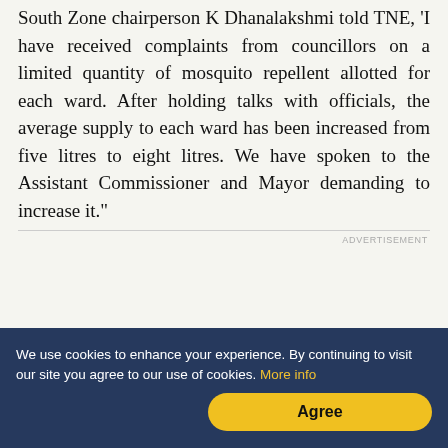South Zone chairperson K Dhanalakshmi told TNE, 'I have received complaints from councillors on a limited quantity of mosquito repellent allotted for each ward. After holding talks with officials, the average supply to each ward has been increased from five litres to eight litres. We have spoken to the Assistant Commissioner and Mayor demanding to increase it."
ADVERTISEMENT
We use cookies to enhance your experience. By continuing to visit our site you agree to our use of cookies. More info